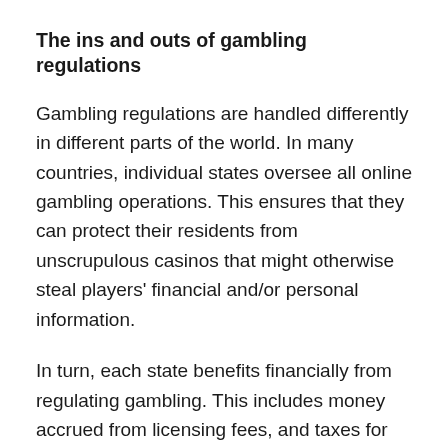The ins and outs of gambling regulations
Gambling regulations are handled differently in different parts of the world. In many countries, individual states oversee all online gambling operations. This ensures that they can protect their residents from unscrupulous casinos that might otherwise steal players' financial and/or personal information.
In turn, each state benefits financially from regulating gambling. This includes money accrued from licensing fees, and taxes for both winning players and casino operators.
First and foremost, customer protection is the